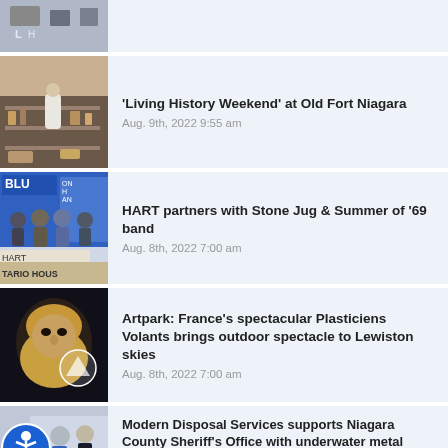[Figure (photo): Partial news thumbnail at top of list, cropped]
[Figure (photo): Interior scene with a person in historical clothing, Old Fort Niagara]
'Living History Weekend' at Old Fort Niagara
Aug. 9th, 2022 9:55 am
[Figure (photo): Group of people standing in front of a Blue building, HART sign, TARIO HOUSE visible]
HART partners with Stone Jug & Summer of '69 band
Aug. 8th, 2022 7:00 am
[Figure (photo): Dark image with a bearded face and Artpark logo]
Artpark: France's spectacular Plasticiens Volants brings outdoor spectacle to Lewiston skies
Aug. 8th, 2022 7:00 am
[Figure (photo): Accessibility icon button overlay on a news thumbnail with people in uniform]
Modern Disposal Services supports Niagara County Sheriff's Office with underwater metal detector